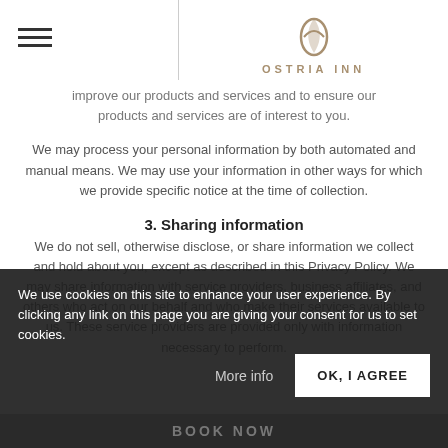[Figure (logo): Ostria Inn hotel logo with stylized leaf/droplet symbol above the text 'OSTRIA INN' in spaced gold/tan letters]
improve our products and services and to ensure our products and services are of interest to you.
We may process your personal information by both automated and manual means. We may use your information in other ways for which we provide specific notice at the time of collection.
3. Sharing information
We do not sell, otherwise disclose, or share information we collect and hold about you, except as described in this Privacy Policy. We may share information with service providers, business affiliates, and others who act on our behalf and who make their services available to us. These service providers are provided only with information necessary to perform.
We use cookies on this site to enhance your user experience. By clicking any link on this page you are giving your consent for us to set cookies.